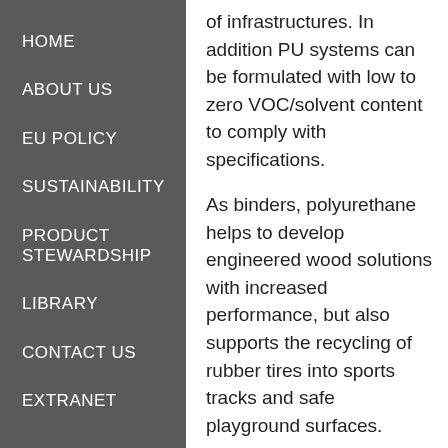HOME
ABOUT US
EU POLICY
SUSTAINABILITY
PRODUCT STEWARDSHIP
LIBRARY
CONTACT US
EXTRANET
of infrastructures. In addition PU systems can be formulated with low to zero VOC/solvent content to comply with specifications.
As binders, polyurethane helps to develop engineered wood solutions with increased performance, but also supports the recycling of rubber tires into sports tracks and safe playground surfaces.